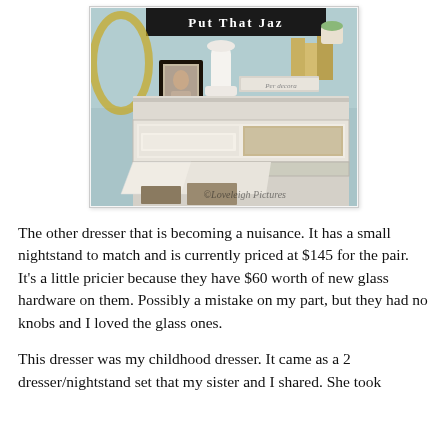[Figure (photo): Photo of a white painted dresser with an open drawer showing linens inside. The dresser top has decorative items including a picture frame, white pedestal, and books. A sign reading text is visible at the top. Watermark reads 'Loveleigh Pictures'.]
The other dresser that is becoming a nuisance. It has a small nightstand to match and is currently priced at $145 for the pair. It's a little pricier because they have $60 worth of new glass hardware on them. Possibly a mistake on my part, but they had no knobs and I loved the glass ones.
This dresser was my childhood dresser. It came as a 2 dresser/nightstand set that my sister and I shared. She took